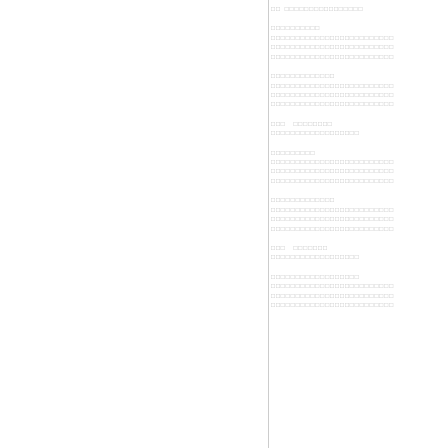[Figure (other): Redacted or placeholder document page with two columns. Left column is blank white space. Right column contains multiple blocks of placeholder/redacted text rendered as sequences of small square characters (Unicode replacement characters or similar), representing obscured text content across multiple sections with headers and body text.]